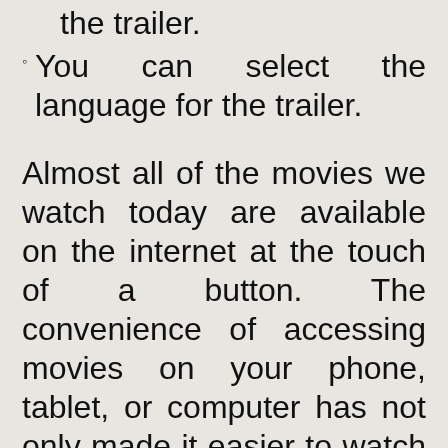the trailer.
You can select the language for the trailer.
Almost all of the movies we watch today are available on the internet at the touch of a button. The convenience of accessing movies on your phone, tablet, or computer has not only made it easier to watch the latest releases, but it has also made it possible to watch the movies anytime, anywhere. In this article, we